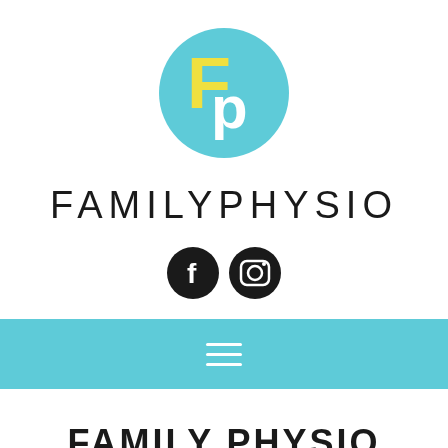[Figure (logo): Family Physio logo: teal circle with yellow F and white p letters]
FAMILYPHYSIO
[Figure (infographic): Social media icons: Facebook (f) and Instagram camera icon, both black circles with white symbols]
[Figure (infographic): Navigation bar: teal/cyan horizontal bar with white hamburger menu icon (three horizontal lines)]
FAMILY PHYSIO WELCOMES YOU